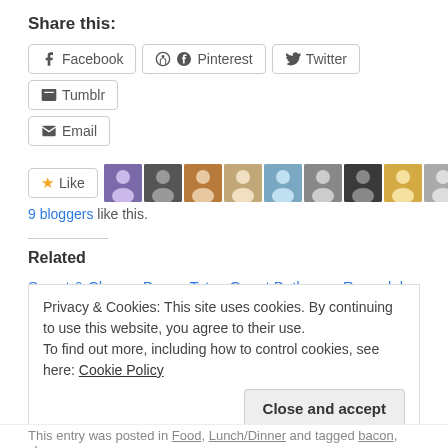Share this:
Facebook | Pinterest | Twitter | Tumblr | Email (share buttons)
[Figure (other): Like button with 9 blogger avatars and '9 bloggers like this.']
Related
Sweet & Cheesy Bacon Tots
September 3, 2016
In "Food"
Guest Bathroom Remodel – In Yellow!
September 7, 2015
In "Home Decor"
Privacy & Cookies: This site uses cookies. By continuing to use this website, you agree to their use.
To find out more, including how to control cookies, see here: Cookie Policy
[Close and accept button]
This entry was posted in Food, Lunch/Dinner and tagged bacon, cheese,